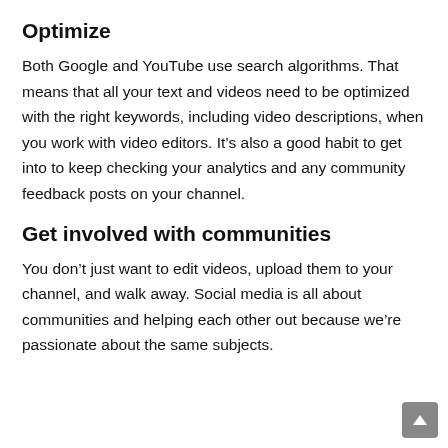Optimize
Both Google and YouTube use search algorithms. That means that all your text and videos need to be optimized with the right keywords, including video descriptions, when you work with video editors. It’s also a good habit to get into to keep checking your analytics and any community feedback posts on your channel.
Get involved with communities
You don’t just want to edit videos, upload them to your channel, and walk away. Social media is all about communities and helping each other out because we’re passionate about the same subjects.